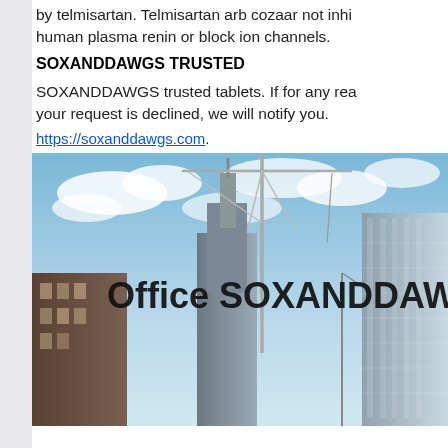by telmisartan. Telmisartan arb cozaar not inhibit human plasma renin or block ion channels.
SOXANDDAWGS TRUSTED
SOXANDDAWGS trusted tablets. If for any reason your request is declined, we will notify you.
https://soxanddawgs.com.
[Figure (photo): Photo of city skyscrapers viewed from below against a blue cloudy sky, with a construction crane visible. Text overlay reads 'Office SOXANDDAWGS']